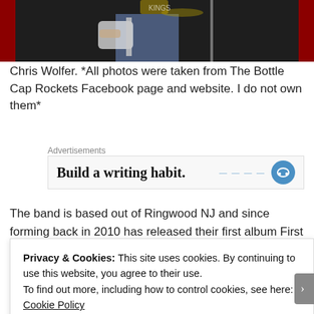[Figure (photo): Concert photo showing a musician on stage with a guitar, red curtains on the sides, dark background]
Chris Wolfer. *All photos were taken from The Bottle Cap Rockets Facebook page and website. I do not own them*
[Figure (screenshot): Advertisement box with text 'Build a writing habit.' and a headphones icon]
The band is based out of Ringwood NJ and since forming back in 2010 has released their first album First Seven which is available on it
Privacy & Cookies: This site uses cookies. By continuing to use this website, you agree to their use.
To find out more, including how to control cookies, see here: Cookie Policy
Close and accept